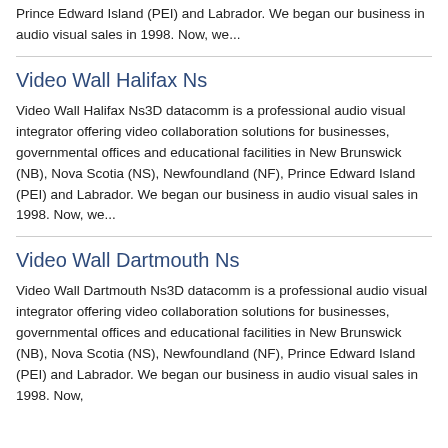Prince Edward Island (PEI) and Labrador. We began our business in audio visual sales in 1998. Now, we...
Video Wall Halifax Ns
Video Wall Halifax Ns3D datacomm is a professional audio visual integrator offering video collaboration solutions for businesses, governmental offices and educational facilities in New Brunswick (NB), Nova Scotia (NS), Newfoundland (NF), Prince Edward Island (PEI) and Labrador. We began our business in audio visual sales in 1998. Now, we...
Video Wall Dartmouth Ns
Video Wall Dartmouth Ns3D datacomm is a professional audio visual integrator offering video collaboration solutions for businesses, governmental offices and educational facilities in New Brunswick (NB), Nova Scotia (NS), Newfoundland (NF), Prince Edward Island (PEI) and Labrador. We began our business in audio visual sales in 1998. Now,